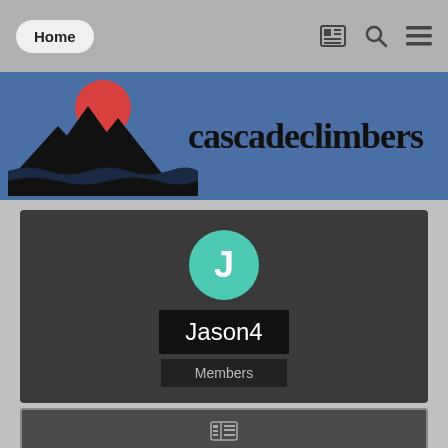Home
[Figure (logo): Cascade Climbers logo with mountain silhouette and red circle sun on blue banner background, with text 'cascadeclimbers']
Jason4
Members
CONTENT COUNT
289
JOINED